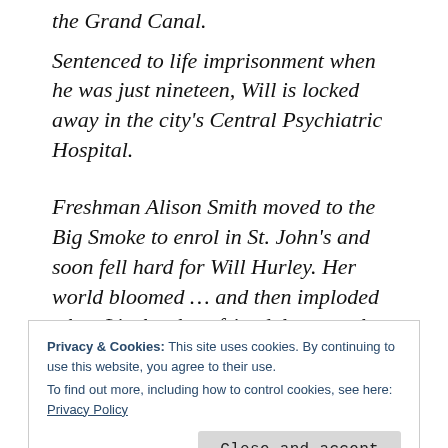the Grand Canal.
Sentenced to life imprisonment when he was just nineteen, Will is locked away in the city's Central Psychiatric Hospital.
Freshman Alison Smith moved to the Big Smoke to enrol in St. John's and soon fell hard for Will Hurley. Her world bloomed … and then imploded when Liz, her best friend, became the latest victim of the Canal Killer–and the Canal Killer turned out to
Privacy & Cookies: This site uses cookies. By continuing to use this website, you agree to their use.
To find out more, including how to control cookies, see here: Privacy Policy
Close and accept
Canal. Garda detectives visit Will to see if he can